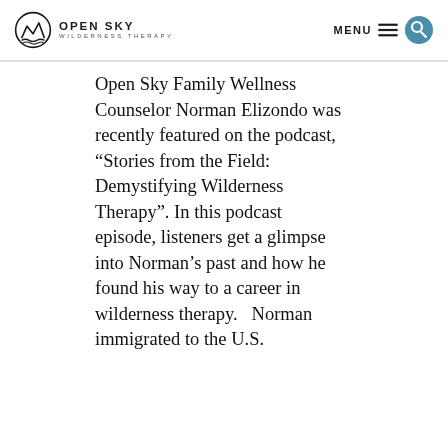Open Sky Wilderness Therapy — MENU
Open Sky Family Wellness Counselor Norman Elizondo was recently featured on the podcast, “Stories from the Field: Demystifying Wilderness Therapy”. In this podcast episode, listeners get a glimpse into Norman’s past and how he found his way to a career in wilderness therapy.   Norman immigrated to the U.S.